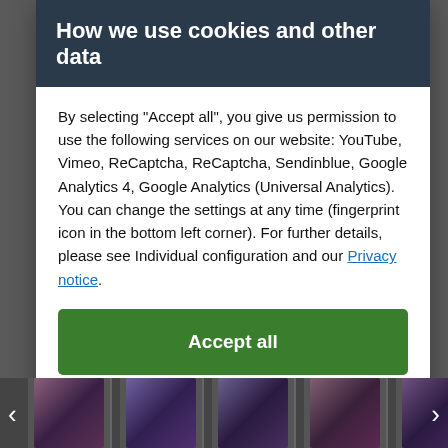How we use cookies and other data
By selecting "Accept all", you give us permission to use the following services on our website: YouTube, Vimeo, ReCaptcha, ReCaptcha, Sendinblue, Google Analytics 4, Google Analytics (Universal Analytics). You can change the settings at any time (fingerprint icon in the bottom left corner). For further details, please see Individual configuration and our Privacy notice.
Accept all
Close
Configuration
[Figure (photo): Row of thumbnail images of anime figurines at bottom of page]